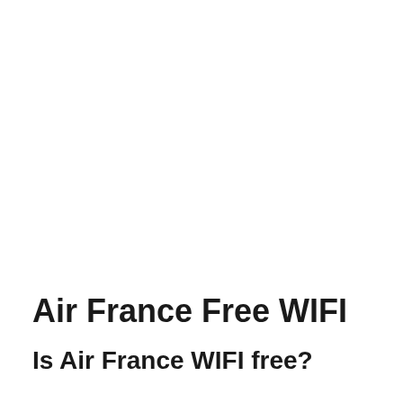Air France Free WIFI
Is Air France WIFI free?